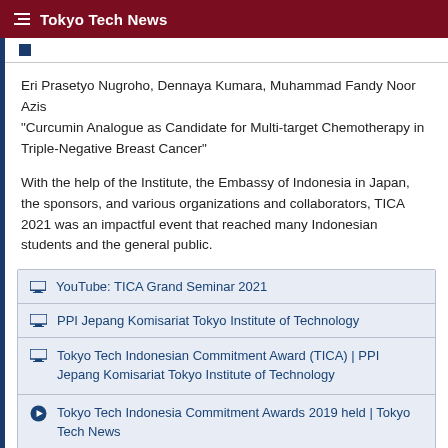Tokyo Tech News
Eri Prasetyo Nugroho, Dennaya Kumara, Muhammad Fandy Noor Azis "Curcumin Analogue as Candidate for Multi-target Chemotherapy in Triple-Negative Breast Cancer"
With the help of the Institute, the Embassy of Indonesia in Japan, the sponsors, and various organizations and collaborators, TICA 2021 was an impactful event that reached many Indonesian students and the general public.
YouTube: TICA Grand Seminar 2021
PPI Jepang Komisariat Tokyo Institute of Technology
Tokyo Tech Indonesian Commitment Award (TICA) | PPI Jepang Komisariat Tokyo Institute of Technology
Tokyo Tech Indonesia Commitment Awards 2019 held | Tokyo Tech News
Indonesian Students Association holds 2018 paper competition